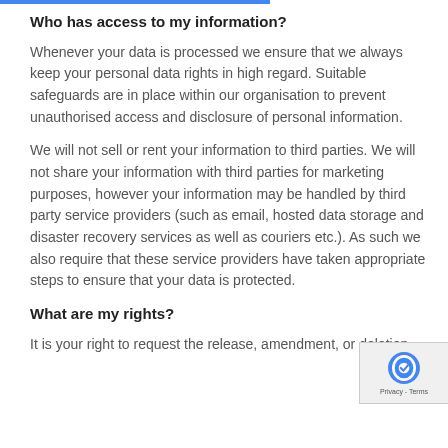Who has access to my information?
Whenever your data is processed we ensure that we always keep your personal data rights in high regard.  Suitable safeguards are in place within our organisation to prevent unauthorised access and disclosure of personal information.
We will not sell or rent your information to third parties.  We will not share your information with third parties for marketing purposes, however your information may be handled by third party service providers (such as email, hosted data storage and disaster recovery services as well as couriers etc.).  As such we also require that these service providers have taken appropriate steps to ensure that your data is protected.
What are my rights?
It is your right to request the release, amendment, or deletion